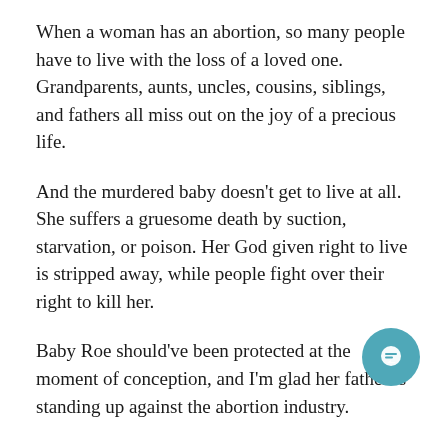When a woman has an abortion, so many people have to live with the loss of a loved one. Grandparents, aunts, uncles, cousins, siblings, and fathers all miss out on the joy of a precious life.
And the murdered baby doesn't get to live at all. She suffers a gruesome death by suction, starvation, or poison. Her God given right to live is stripped away, while people fight over their right to kill her.
Baby Roe should've been protected at the moment of conception, and I'm glad her father is standing up against the abortion industry.
You can stand against this genocide